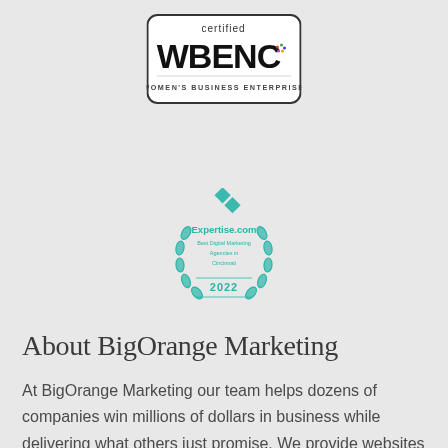[Figure (logo): Certified WBENC Women's Business Enterprise badge - a rectangular badge with rounded corners and black border containing the text 'certified WBENC WOMEN'S BUSINESS ENTERPRISE']
[Figure (logo): Expertise.com badge - circular teal/green badge with laurel wreath design, diamond pattern at top, reading 'Expertise.com Best Digital Marketing Agencies in Cincinnati 2022']
About BigOrange Marketing
At BigOrange Marketing our team helps dozens of companies win millions of dollars in business while delivering what others just promise. We provide websites and complete